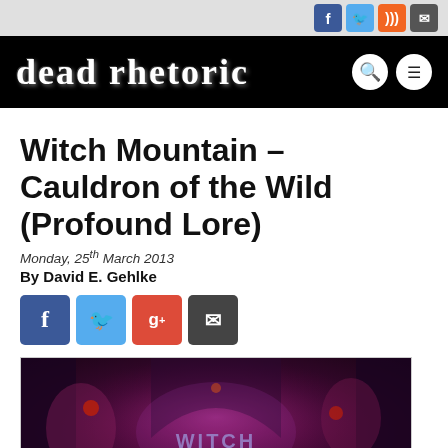dead rhetoric — social icons: Facebook, Twitter, RSS, Mail
Witch Mountain – Cauldron of the Wild (Profound Lore)
Monday, 25th March 2013
By David E. Gehlke
[Figure (infographic): Share bar with Facebook, Twitter, Google+, and Email buttons]
[Figure (photo): Witch Mountain – Cauldron of the Wild album artwork, dark fantasy illustration with purple and red tones, band name visible]